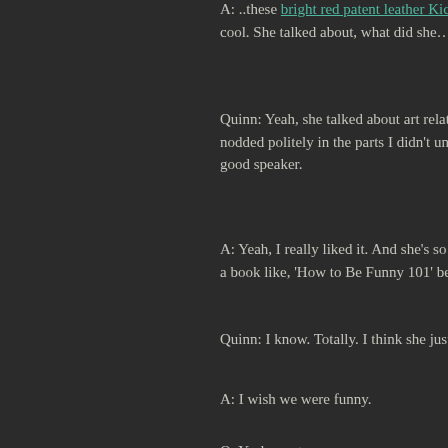A: ..these bright red patent leather Kicks that are just like, amazing cool. She talked about, what did she… it was like, art vs. gover
Quinn: Yeah, she talked about art relating to modern-day politi nodded politely in the parts I didn't understand. It was interesti good speaker.
A: Yeah, I really liked it. And she's so funny. I don't know, how a book like, 'How to Be Funny 101' because I would read it, ar
Quinn: I know. Totally. I think she just thinks so quickly on her
A: I wish we were funny.
Q: Yeah, me too.
A: Sometimes Quinn and I, well, we think each other are funny because no one else thinks we're funny.
Q: Yeah, we just say really dumb things.
A: No, I'd…